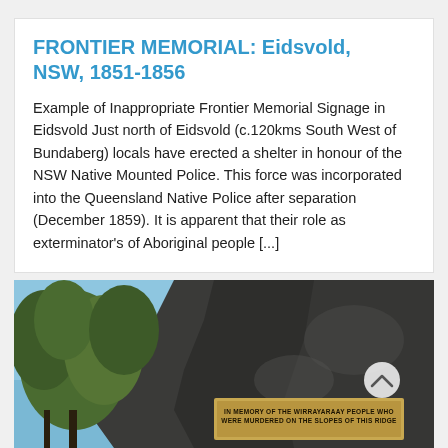FRONTIER MEMORIAL: Eidsvold, NSW, 1851-1856
Example of Inappropriate Frontier Memorial Signage in Eidsvold Just north of Eidsvold (c.120kms South West of Bundaberg) locals have erected a shelter in honour of the NSW Native Mounted Police. This force was incorporated into the Queensland Native Police after separation (December 1859). It is apparent that their role as exterminator's of Aboriginal people [...]
[Figure (photo): Outdoor photograph showing a large dark rock face with a bronze memorial plaque mounted on it. Trees visible in the background against a blue sky. Plaque reads 'IN MEMORY OF THE WIRRAYARAAY PEOPLE WHO WERE MURDERED ON THE SLOPES OF THIS RIDGE'. A small scroll/chevron up button is visible on the right side of the image.]